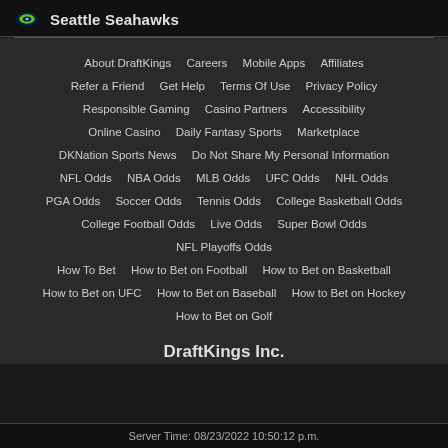Seattle Seahawks
About DraftKings | Careers | Mobile Apps | Affiliates
Refer a Friend | Get Help | Terms Of Use | Privacy Policy
Responsible Gaming | Casino Partners | Accessibility
Online Casino | Daily Fantasy Sports | Marketplace
DKNation Sports News | Do Not Share My Personal Information
NFL Odds | NBA Odds | MLB Odds | UFC Odds | NHL Odds
PGA Odds | Soccer Odds | Tennis Odds | College Basketball Odds
College Football Odds | Live Odds | Super Bowl Odds
NFL Playoffs Odds
How To Bet | How to Bet on Football | How to Bet on Basketball
How to Bet on UFC | How to Bet on Baseball | How to Bet on Hockey
How to Bet on Golf
DraftKings Inc.
Server Time: 08/23/2022 10:50:12 p.m.